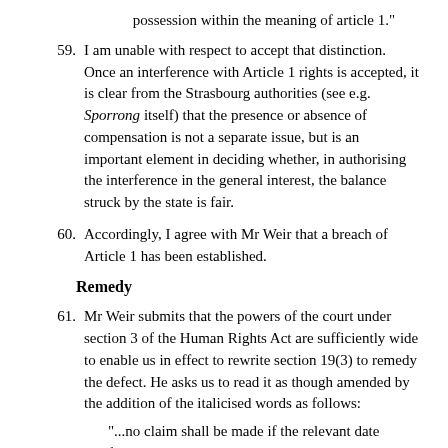possession within the meaning of article 1."
59. I am unable with respect to accept that distinction. Once an interference with Article 1 rights is accepted, it is clear from the Strasbourg authorities (see e.g. Sporrong itself) that the presence or absence of compensation is not a separate issue, but is an important element in deciding whether, in authorising the interference in the general interest, the balance struck by the state is fair.
60. Accordingly, I agree with Mr Weir that a breach of Article 1 has been established.
Remedy
61. Mr Weir submits that the powers of the court under section 3 of the Human Rights Act are sufficiently wide to enable us in effect to rewrite section 19(3) to remedy the defect. He asks us to read it as though amended by the addition of the italicised words as follows:
"...no claim shall be made if the relevant date falls at a time when the highway was not so maintainable and the highway does not become so maintainable within three years of that date unless the highway authority agreed by the